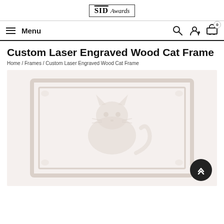SID Awards
Custom Laser Engraved Wood Cat Frame
Home / Frames / Custom Laser Engraved Wood Cat Frame
[Figure (photo): Product image placeholder showing a faint engraved wood cat frame on a light beige background]